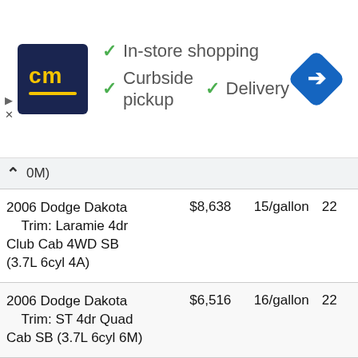[Figure (other): Advertisement banner for CM store showing logo, in-store shopping, curbside pickup, delivery, and navigation icon]
| Vehicle | Price | Fuel Economy | Score |
| --- | --- | --- | --- |
| 2006 Dodge Dakota Trim: Laramie 4dr Club Cab 4WD SB (3.7L 6cyl 4A) | $8,638 | 15/gallon | 22 |
| 2006 Dodge Dakota Trim: ST 4dr Quad Cab SB (3.7L 6cyl 6M) | $6,516 | 16/gallon | 22 |
| 2006 Dodge Dakota Trim: SLT 4dr Quad Cab SB (3.7L 6cyl 6M) | $7,510 | 16/gallon | 22 |
| 2006 Dodge Dakota | $8,226 | 17/gallon | 22 |